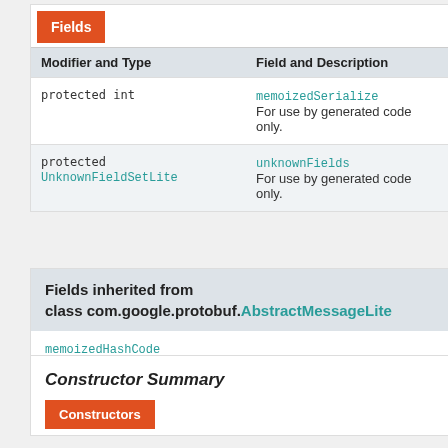Fields
| Modifier and Type | Field and Description |
| --- | --- |
| protected int | memoizedSerialize...
For use by generated code only. |
| protected UnknownFieldSetLite | unknownFields
For use by generated code only. |
Fields inherited from class com.google.protobuf.AbstractMessageLite
memoizedHashCode
Constructor Summary
Constructors